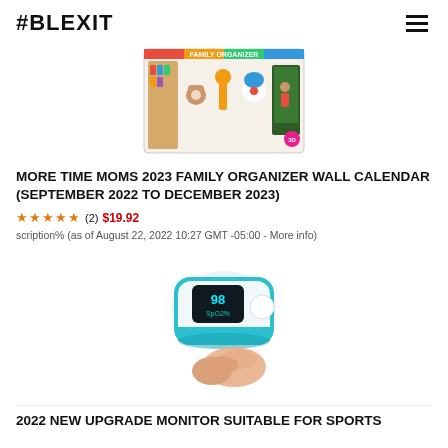#BLEXIT
[Figure (illustration): Family Organizer wall calendar product image showing cartoon characters including toys, animals, and a clown with a chalkboard, with colorful header reading FAMILY ORGANIZER]
MORE TIME MOMS 2023 FAMILY ORGANIZER WALL CALENDAR (SEPTEMBER 2022 TO DECEMBER 2023)
★★★★★ (2) $19.92 scription% (as of August 22, 2022 10:27 GMT -05:00 - More info)
[Figure (photo): A teal and white fingertip pulse oximeter device being held by a hand, showing digital display with oxygen saturation reading]
2022 NEW UPGRADE MONITOR SUITABLE FOR SPORTS